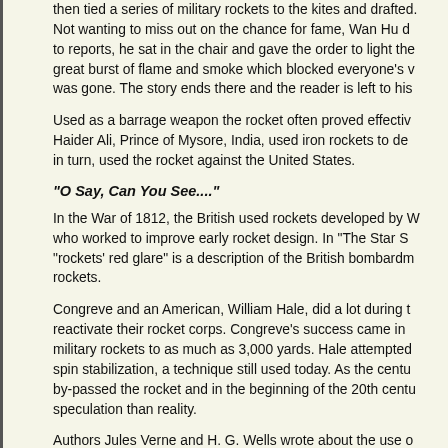then tied a series of military rockets to the kites and drafted. Not wanting to miss out on the chance for fame, Wan Hu d to reports, he sat in the chair and gave the order to light the great burst of flame and smoke which blocked everyone's was gone. The story ends there and the reader is left to his
Used as a barrage weapon the rocket often proved effective. Haider Ali, Prince of Mysore, India, used iron rockets to de in turn, used the rocket against the United States.
"O Say, Can You See...."
In the War of 1812, the British used rockets developed by who worked to improve early rocket design. In "The Star S "rockets' red glare" is a description of the British bombardm rockets.
Congreve and an American, William Hale, did a lot during t reactivate their rocket corps. Congreve's success came in military rockets to as much as 3,000 yards. Hale attempted spin stabilization, a technique still used today. As the centu by-passed the rocket and in the beginning of the 20th cent speculation than reality.
Authors Jules Verne and H. G. Wells wrote about the use of